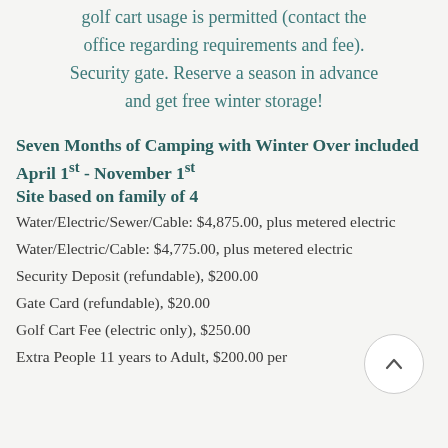golf cart usage is permitted (contact the office regarding requirements and fee). Security gate. Reserve a season in advance and get free winter storage!
Seven Months of Camping with Winter Over included
April 1st - November 1st
Site based on family of 4
Water/Electric/Sewer/Cable: $4,875.00, plus metered electric
Water/Electric/Cable: $4,775.00, plus metered electric
Security Deposit (refundable), $200.00
Gate Card (refundable), $20.00
Golf Cart Fee (electric only), $250.00
Extra People 11 years to Adult, $200.00 per